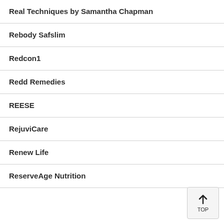Real Techniques by Samantha Chapman
Rebody Safslim
Redcon1
Redd Remedies
REESE
RejuviCare
Renew Life
ReserveAge Nutrition